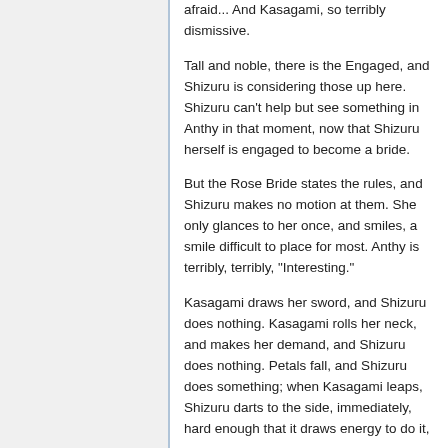afraid... And Kasagami, so terribly dismissive.
Tall and noble, there is the Engaged, and Shizuru is considering those up here. Shizuru can't help but see something in Anthy in that moment, now that Shizuru herself is engaged to become a bride.
But the Rose Bride states the rules, and Shizuru makes no motion at them. She only glances to her once, and smiles, a smile difficult to place for most. Anthy is terribly, terribly, "Interesting."
Kasagami draws her sword, and Shizuru does nothing. Kasagami rolls her neck, and makes her demand, and Shizuru does nothing. Petals fall, and Shizuru does something; when Kasagami leaps, Shizuru darts to the side, immediately, hard enough that it draws energy to do it,